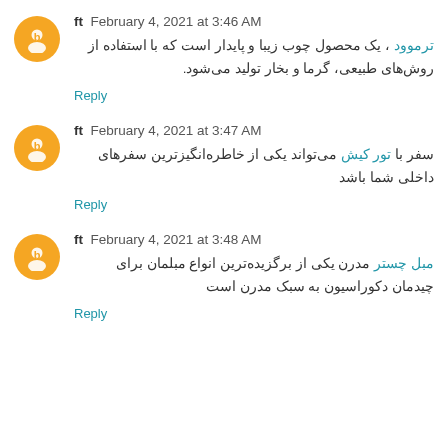ft  February 4, 2021 at 3:46 AM
ترموود ، یک محصول چوب زیبا و پایدار است که با استفاده از روش‌های طبیعی، گرما و بخار تولید می‌شود.
Reply
ft  February 4, 2021 at 3:47 AM
سفر با تور کیش می‌تواند یکی از خاطره‌انگیزترین سفرهای داخلی شما باشد
Reply
ft  February 4, 2021 at 3:48 AM
مبل چستر مدرن یکی از برگزیده‌ترین انواع مبلمان برای چیدمان دکوراسیون به سبک مدرن است
Reply